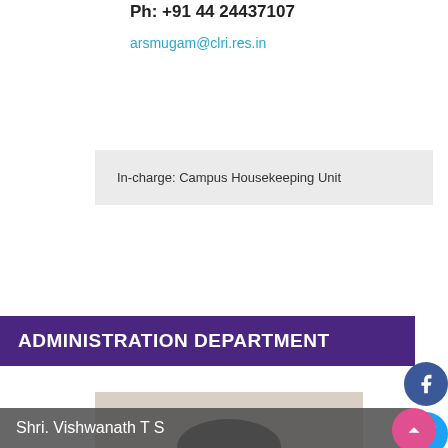Ph: +91 44 24437107
arsmugam@clri.res.in
In-charge: Campus Housekeeping Unit
ADMINISTRATION DEPARTMENT
[Figure (photo): Headshot photo of Shri. Vishwanath T S, a middle-aged man wearing glasses and a striped shirt]
Shri. Vishwanath T S